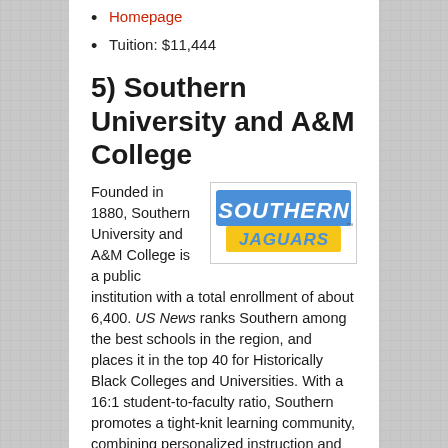Homepage
Tuition: $11,444
5) Southern University and A&M College
[Figure (logo): Southern Jaguars logo with blue and gold text on white background]
Founded in 1880, Southern University and A&M College is a public institution with a total enrollment of about 6,400. US News ranks Southern among the best schools in the region, and places it in the top 40 for Historically Black Colleges and Universities. With a 16:1 student-to-faculty ratio, Southern promotes a tight-knit learning community, combining personalized instruction and collaborative, hands-on learning